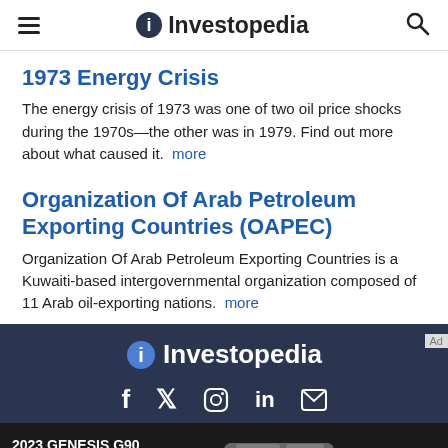Investopedia
1973 Energy Crisis
The energy crisis of 1973 was one of two oil price shocks during the 1970s—the other was in 1979. Find out more about what caused it.  more
Organization Of Arab Petroleum Exporting Countries (OAPEC)
Organization Of Arab Petroleum Exporting Countries is a Kuwaiti-based intergovernmental organization composed of 11 Arab oil-exporting nations.  more
Investopedia
[Figure (screenshot): Advertisement banner showing 2023 Genesis G90 car with text '2023 GENESIS G90' and 'Preprod. model with optional features shown.']